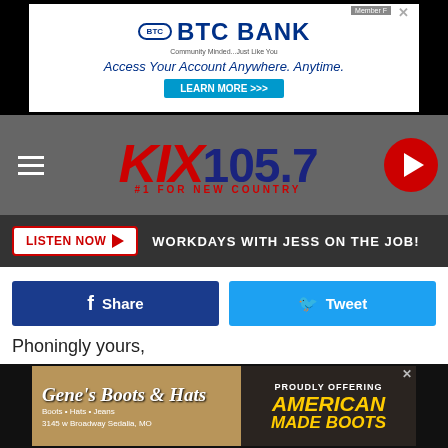[Figure (screenshot): BTC Bank advertisement banner: 'Access Your Account Anywhere. Anytime. LEARN MORE >>>']
[Figure (logo): KIX 105.7 #1 FOR NEW COUNTRY radio station logo in red and navy]
LISTEN NOW ▶   WORKDAYS WITH JESS ON THE JOB!
Share   Tweet
Phoningly yours,
Behka
Source: Four Ways to Make Your Phone Run Faster
Filed Under: Cell Phone, Technology, Telephone
[Figure (screenshot): Gene's Boots & Hats advertisement: 'Boots • Hats • Jeans, 3145 w Broadway Sedalia, MO, PROUDLY OFFERING AMERICAN MADE BOOTS']